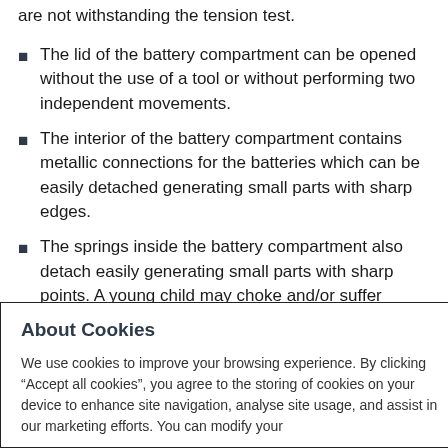are not withstanding the tension test.
The lid of the battery compartment can be opened without the use of a tool or without performing two independent movements.
The interior of the battery compartment contains metallic connections for the batteries which can be easily detached generating small parts with sharp edges.
The springs inside the battery compartment also detach easily generating small parts with sharp points. A young child may choke and/or suffer injuries when putting these small parts into its
About Cookies
We use cookies to improve your browsing experience. By clicking “Accept all cookies”, you agree to the storing of cookies on your device to enhance site navigation, analyse site usage, and assist in our marketing efforts. You can modify your